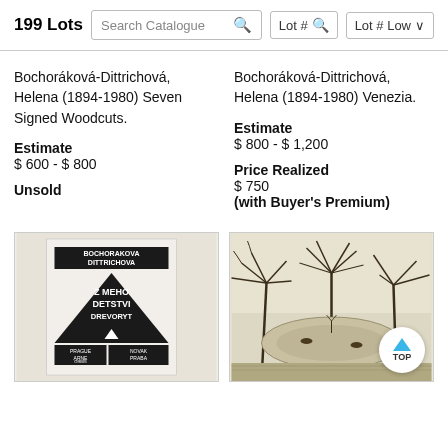199 Lots  Search Catalogue  Lot #  Lot # Low
Bochoráková-Dittrichová, Helena (1894-1980) Seven Signed Woodcuts.
Estimate
$ 600 - $ 800
Unsold
Bochoráková-Dittrichová, Helena (1894-1980) Venezia.
Estimate
$ 800 - $ 1,200
Price Realized
$ 750
(with Buyer's Premium)
[Figure (illustration): Woodcut print showing a book cover design with geometric triangular composition, text reading BOCHORAKOVA DITTRICHOVA Z MEHO DETSTVI DREVORYT, with publisher info at bottom: PRAGUE ARNE NOVAK ORBIS PRABA]
[Figure (illustration): Etching or woodcut print depicting a tropical landscape scene with palm trees, water, and animals, rendered in fine line work]